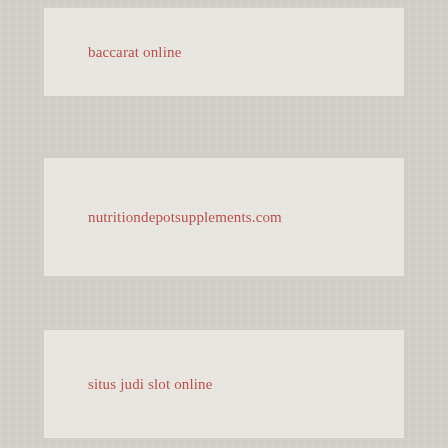baccarat online
nutritiondepotsupplements.com
situs judi slot online
slot online
สล็อตเว็บตรง
slot online